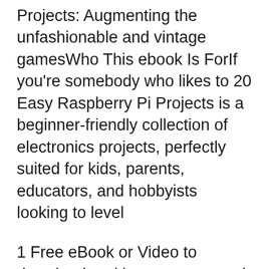Projects: Augmenting the unfashionable and vintage gamesWho This ebook Is ForIf you're somebody who likes to 20 Easy Raspberry Pi Projects is a beginner-friendly collection of electronics projects, perfectly suited for kids, parents, educators, and hobbyists looking to level
1 Free eBook or Video to download and keep every month Raspberry Pi 3 Home Automation Projects addresses the challenge of applying real-world projects to 1 Free eBook or Video to download and keep every Raspberry Pi Projects for Kids - Second Edition Pi Edition Coding How-to and Raspberry Pi Projects for
Ebook Description. Ten brand new, hands-on DIY